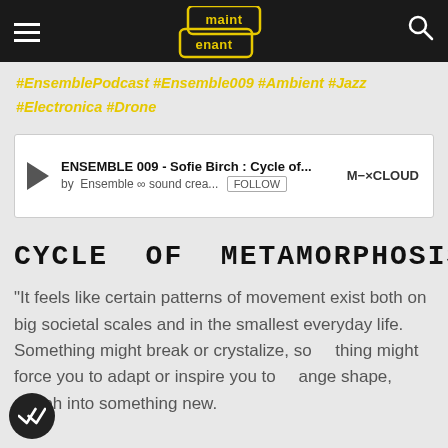maint enant
#EnsemblePodcast #Ensemble009 #Ambient #Jazz #Electronica #Drone
[Figure (screenshot): Mixcloud embedded player showing 'ENSEMBLE 009 - Sofie Birch : Cycle of...' by Ensemble ∞ sound crea... with a FOLLOW button and M-XCLOUD logo]
CYCLE OF METAMORPHOSIS
“It feels like certain patterns of movement exist both on big societal scales and in the smallest everyday life. Something might break or crystalize, something might force you to adapt or inspire you to change shape, morph into something new.